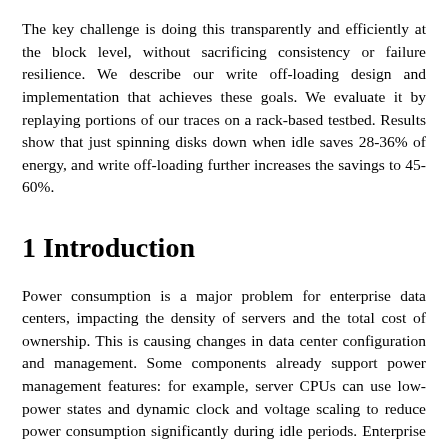The key challenge is doing this transparently and efficiently at the block level, without sacrificing consistency or failure resilience. We describe our write off-loading design and implementation that achieves these goals. We evaluate it by replaying portions of our traces on a rack-based testbed. Results show that just spinning disks down when idle saves 28-36% of energy, and write off-loading further increases the savings to 45-60%.
1 Introduction
Power consumption is a major problem for enterprise data centers, impacting the density of servers and the total cost of ownership. This is causing changes in data center configuration and management. Some components already support power management features: for example, server CPUs can use low-power states and dynamic clock and voltage scaling to reduce power consumption significantly during idle periods. Enterprise storage subsystems do not have such advanced power management and consume a significant amount of power in the data center [32]. An enterprise grade disk such as the Seagate Cheetah 15K.4 consumes 12W even when idle [26], whereas a dual-core Intel Xeon processor consumes 24W when idle [14]. Thus, an idle